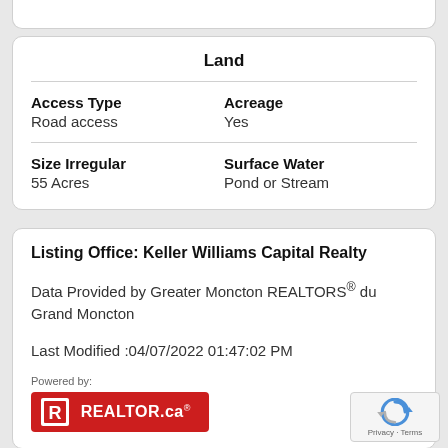| Land |
| --- |
| Access Type | Acreage |
| Road access | Yes |
| Size Irregular | Surface Water |
| 55 Acres | Pond or Stream |
Listing Office: Keller Williams Capital Realty
Data Provided by Greater Moncton REALTORS® du Grand Moncton
Last Modified :04/07/2022 01:47:02 PM
Powered by:
[Figure (logo): REALTOR.ca logo — red rectangle with white R icon and REALTOR.ca text]